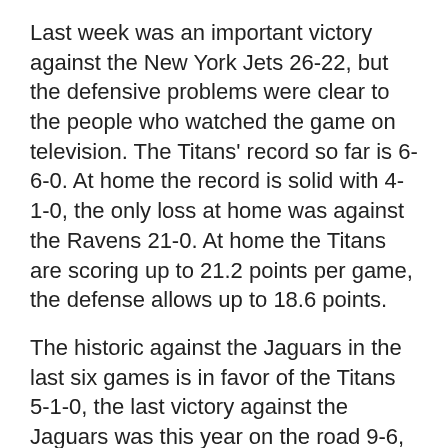Last week was an important victory against the New York Jets 26-22, but the defensive problems were clear to the people who watched the game on television. The Titans' record so far is 6-6-0. At home the record is solid with 4-1-0, the only loss at home was against the Ravens 21-0. At home the Titans are scoring up to 21.2 points per game, the defense allows up to 18.6 points.
The historic against the Jaguars in the last six games is in favor of the Titans 5-1-0, the last victory against the Jaguars was this year on the road 9-6, last year in the last week the Titans won at home 15-10. Marcus Mariota, 68.6% of completed passes, 4-6-0, 2168 yards and 11 TDs with 7 INTs this season.
against the Jets last week the production of regular Mariota with 57.14% and 2 Tds and only one interception. The home games have always been below 70%